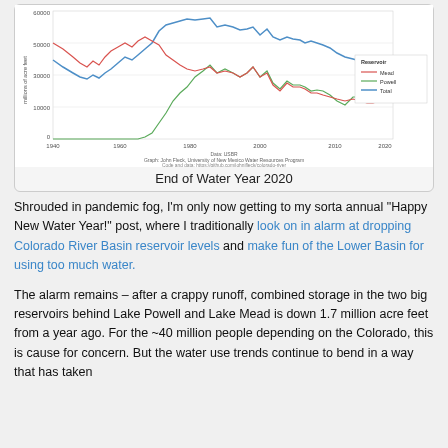[Figure (continuous-plot): Line chart showing reservoir storage (millions of acre feet) over time from ~1948 to ~2020 for Mead (red), Powell (green), and Total (blue). Total peaks around 60000 in the late 1990s and declines. Mead and Powell lines are lower and more closely tracking each other. X-axis shows years 1948-2020, y-axis shows millions of acre feet (0 to 60000+). Data: USBR. Graph: John Fleck, University of New Mexico Water Resources Program.]
End of Water Year 2020
Shrouded in pandemic fog, I'm only now getting to my sorta annual “Happy New Water Year!” post, where I traditionally look on in alarm at dropping Colorado River Basin reservoir levels and make fun of the Lower Basin for using too much water.
The alarm remains – after a crappy runoff, combined storage in the two big reservoirs behind Lake Powell and Lake Mead is down 1.7 million acre feet from a year ago. For the ~40 million people depending on the Colorado, this is cause for concern. But the water use trends continue to bend in a way that has taken